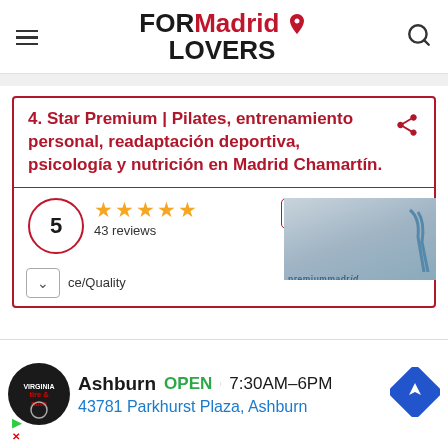FORMadrid LOVERS
4. Star Premium | Pilates, entrenamiento personal, readaptación deportiva, psicología y nutrición en Madrid Chamartín.
5  ★★★★★  43 reviews
MORE PHOTOS
Price/Quality
[Figure (photo): Photo of Star Premium Madrid Chamartín facility interior]
Ashburn  OPEN  7:30AM–6PM  43781 Parkhurst Plaza, Ashburn